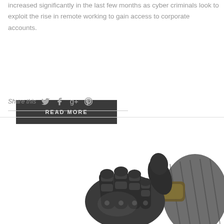increased significantly in the last few months as cyber criminals look to exploit the rise in remote working to gain access to corporate accounts.
READ MORE
Share this
[Figure (photo): A robotic/prosthetic hand with dark metallic fingers and carbon fiber arm, shown from a low angle against a white background.]